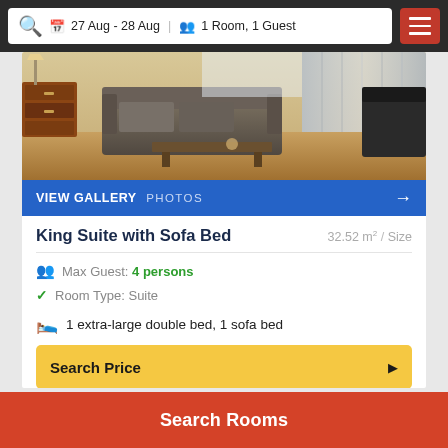27 Aug - 28 Aug  1 Room, 1 Guest
[Figure (photo): Hotel room interior with sofa, coffee table, curtains and furniture]
VIEW GALLERY PHOTOS →
King Suite with Sofa Bed
32.52 m² / Size
Max Guest: 4 persons
Room Type: Suite
1 extra-large double bed, 1 sofa bed
Search Price
Search Rooms